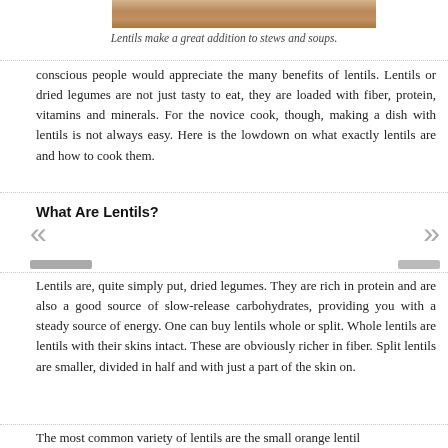[Figure (photo): Partial photo of lentils/stew in a bowl, only bottom strip visible]
Lentils make a great addition to stews and soups.
conscious people would appreciate the many benefits of lentils. Lentils or dried legumes are not just tasty to eat, they are loaded with fiber, protein, vitamins and minerals. For the novice cook, though, making a dish with lentils is not always easy. Here is the lowdown on what exactly lentils are and how to cook them.
What Are Lentils?
Lentils are, quite simply put, dried legumes. They are rich in protein and are also a good source of slow-release carbohydrates, providing you with a steady source of energy. One can buy lentils whole or split. Whole lentils are lentils with their skins intact. These are obviously richer in fiber. Split lentils are smaller, divided in half and with just a part of the skin on.
The most common variety of lentils are the small orange lentil